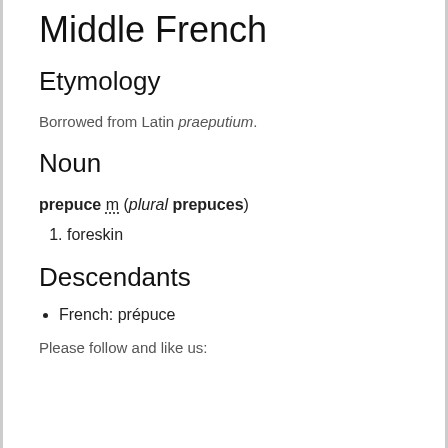Middle French
Etymology
Borrowed from Latin praeputium.
Noun
prepuce m (plural prepuces)
foreskin
Descendants
French: prépuce
Please follow and like us: